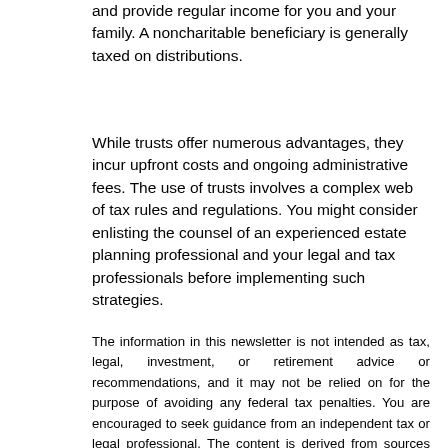and provide regular income for you and your family. A noncharitable beneficiary is generally taxed on distributions.
While trusts offer numerous advantages, they incur upfront costs and ongoing administrative fees. The use of trusts involves a complex web of tax rules and regulations. You might consider enlisting the counsel of an experienced estate planning professional and your legal and tax professionals before implementing such strategies.
The information in this newsletter is not intended as tax, legal, investment, or retirement advice or recommendations, and it may not be relied on for the purpose of avoiding any federal tax penalties. You are encouraged to seek guidance from an independent tax or legal professional. The content is derived from sources believed to be accurate. Neither the information presented nor any opinion expressed constitutes a solicitation for the purchase or sale of any